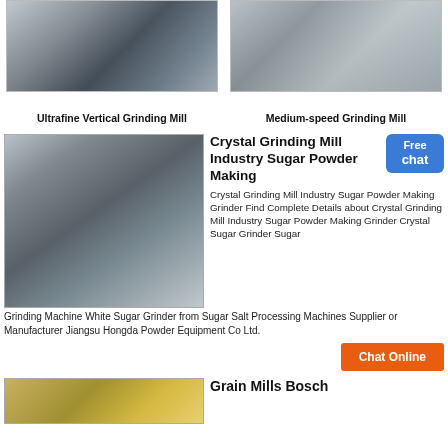[Figure (photo): Industrial ultrafine vertical grinding mill machine in a factory setting]
Ultrafine Vertical Grinding Mill
[Figure (photo): Row of medium-speed grinding mill machines outdoors]
Medium-speed Grinding Mill
[Figure (photo): Large industrial grinding mill facility with silos and heavy machinery]
Crystal Grinding Mill Industry Sugar Powder Making
Crystal Grinding Mill Industry Sugar Powder Making Grinder Find Complete Details about Crystal Grinding Mill Industry Sugar Powder Making Grinder Crystal Sugar Grinder Sugar Grinding Machine White Sugar Grinder from Sugar Salt Processing Machines Supplier or Manufacturer Jiangsu Hongda Powder Equipment Co Ltd.
[Figure (photo): Bottom industrial machinery image - Grain Mills Bosch]
Grain Mills Bosch